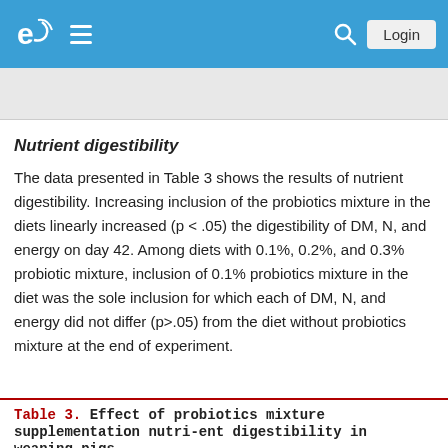e [logo] ≡ [search] Login
Nutrient digestibility
The data presented in Table 3 shows the results of nutrient digestibility. Increasing inclusion of the probiotics mixture in the diets linearly increased (p < .05) the digestibility of DM, N, and energy on day 42. Among diets with 0.1%, 0.2%, and 0.3% probiotic mixture, inclusion of 0.1% probiotics mixture in the diet was the sole inclusion for which each of DM, N, and energy did not differ (p>.05) from the diet without probiotics mixture at the end of experiment.
Table 3. Effect of probiotics mixture supplementation nutrient digestibility in weaning pigs.